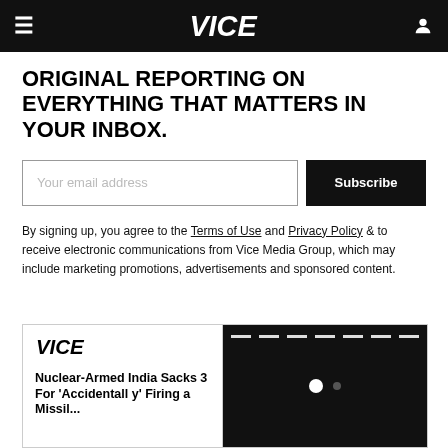VICE
ORIGINAL REPORTING ON EVERYTHING THAT MATTERS IN YOUR INBOX.
Your email address | Subscribe
By signing up, you agree to the Terms of Use and Privacy Policy & to receive electronic communications from Vice Media Group, which may include marketing promotions, advertisements and sponsored content.
[Figure (screenshot): Article card preview showing Vice logo and article title 'Nuclear-Armed India Sacks 3 For Accidentall y Firing a Missil...' alongside a dark image panel with navigation dots]